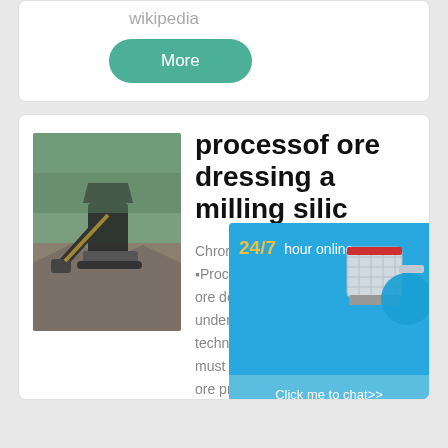wikipedia
More
processof ore dressing a... milling silic...
Chrome Ore Mining … ■Process Introduction… ore deposits are mi… underground and su… techniques, most ch… must be processed … ore processing plan…
[Figure (photo): Mining excavator/machinery working at an open pit mine site with rocks and debris]
[Figure (infographic): 24/7 hour online chat popup with an industrial machine image, a cyan circle, 'Click me to chat>>' button, 'Enquiry' section, and partial email address at bottom]